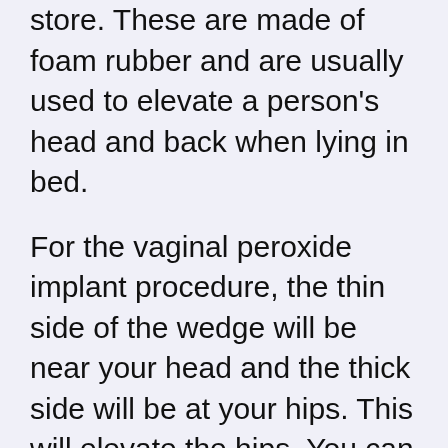store. These are made of foam rubber and are usually used to elevate a person's head and back when lying in bed.
For the vaginal peroxide implant procedure, the thin side of the wedge will be near your head and the thick side will be at your hips. This will elevate the hips. You can then lie comfortably and cover up in bed.
Some women will need two wedges in order to elevate the hips enough